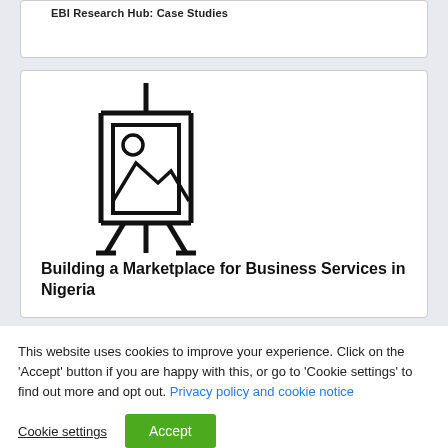EBI Research Hub: Case Studies
[Figure (illustration): Presentation board/easel icon with an image placeholder (mountain landscape and sun circle) displayed on it, drawn in outline/line style]
Building a Marketplace for Business Services in Nigeria
This website uses cookies to improve your experience. Click on the 'Accept' button if you are happy with this, or go to 'Cookie settings' to find out more and opt out. Privacy policy and cookie notice
Cookie settings
Accept